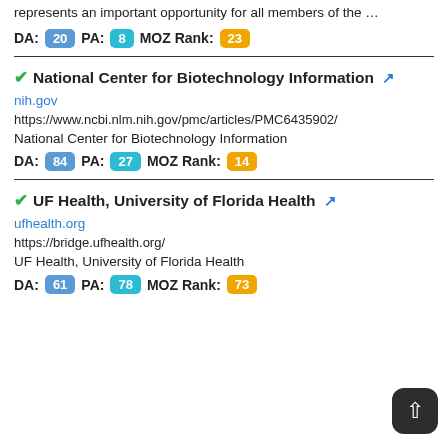represents an important opportunity for all members of the …
DA: 20  PA: 8  MOZ Rank: 23
National Center for Biotechnology Information
nih.gov
https://www.ncbi.nlm.nih.gov/pmc/articles/PMC6435902/
National Center for Biotechnology Information
DA: 84  PA: 27  MOZ Rank: 14
UF Health, University of Florida Health
ufhealth.org
https://bridge.ufhealth.org/
UF Health, University of Florida Health
DA: 61  PA: 78  MOZ Rank: 73